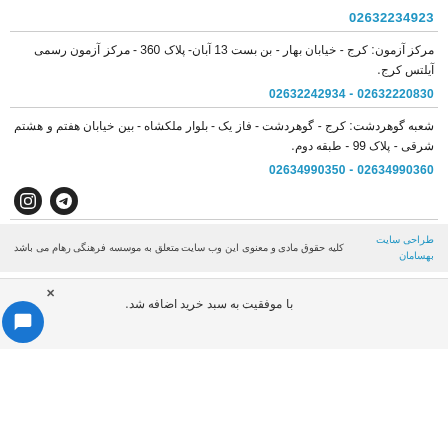02632234923
مرکز آزمون: کرج - خیابان بهار - بن بست 13 آبان- پلاک 360 - مرکز آزمون رسمی آیلتس کرج.
02632220830 - 02632242934
شعبه گوهردشت: کرج - گوهردشت - فاز یک - بلوار ملکشاه - بین خیابان هفتم و هشتم شرقی - پلاک 99 - طبقه دوم.
02634990360 - 02634990350
[Figure (illustration): Telegram and Instagram social media icons]
طراحی سایت بهسامان
کلیه حقوق مادی و معنوی این وب سایت متعلق به موسسه فرهنگی رهام می باشد
با موفقیت به سبد خرید اضافه شد.